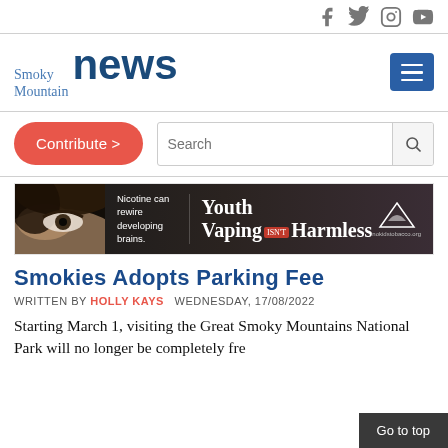Social media icons: Facebook, Twitter, Instagram, YouTube
[Figure (logo): Smoky Mountain News logo with menu button]
[Figure (other): Contribute button and Search box]
[Figure (photo): Advertisement banner: Youth Vaping Isn't Harmless - Nicotine can rewire developing brains]
Smokies Adopts Parking Fee
WRITTEN BY HOLLY KAYS   WEDNESDAY, 17/08/2022
Starting March 1, visiting the Great Smoky Mountains National Park will no longer be completely fre...